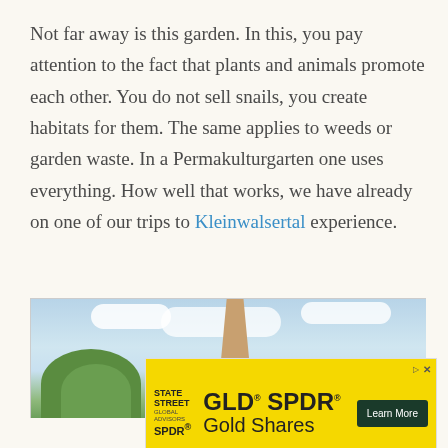Not far away is this garden. In this, you pay attention to the fact that plants and animals promote each other. You do not sell snails, you create habitats for them. The same applies to weeds or garden waste. In a Permakulturgarten one uses everything. How well that works, we have already on one of our trips to Kleinwalsertal experience.
[Figure (photo): Partial view of an outdoor scene with blue sky, white clouds, green trees at lower left, and what appears to be a tall stone or wooden statue/post in the center-top area. A small watermark icon is visible at bottom right.]
[Figure (other): Advertisement banner with yellow background. Shows State Street Global Advisors SPDR logo on the left, large bold text 'GLD SPDR Gold Shares' in the center, and a dark green 'Learn More' button on the right. Small ad disclosure icons at top right.]